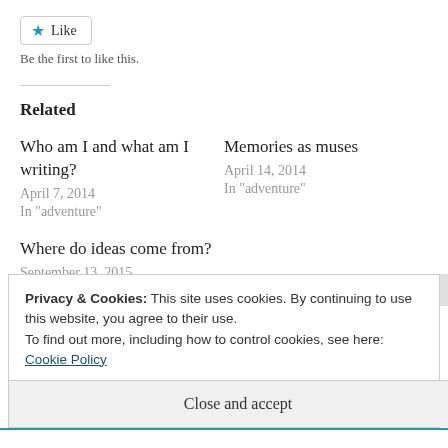Like
Be the first to like this.
Related
Who am I and what am I writing?
April 7, 2014
In "adventure"
Memories as muses
April 14, 2014
In "adventure"
Where do ideas come from?
September 13, 2015
In "Author"
Privacy & Cookies: This site uses cookies. By continuing to use this website, you agree to their use.
To find out more, including how to control cookies, see here: Cookie Policy
Close and accept